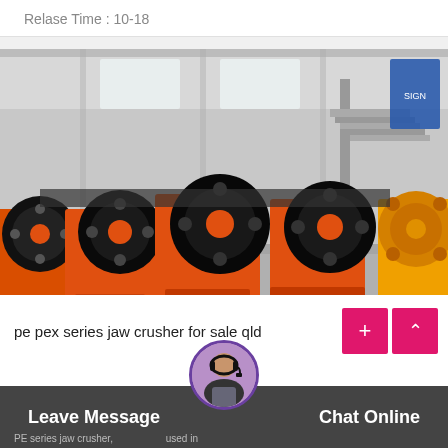Relase Time : 10-18
[Figure (photo): Multiple orange PE/PEX series jaw crushers lined up in an industrial warehouse/factory setting. The machines are painted bright orange with black flywheels, arranged in a row. Industrial steel structure and blue signage visible in the background.]
pe pex series jaw crusher for sale qld
Leave Message   Chat Online